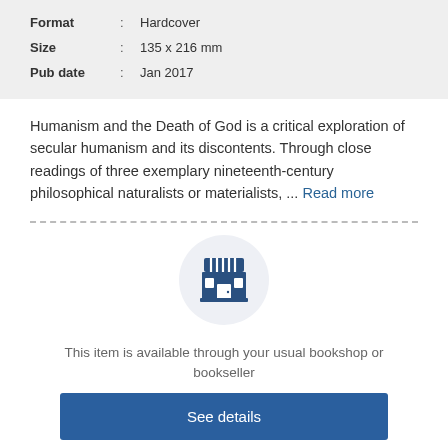| Format | : | Hardcover |
| Size | : | 135 x 216 mm |
| Pub date | : | Jan 2017 |
Humanism and the Death of God is a critical exploration of secular humanism and its discontents. Through close readings of three exemplary nineteenth-century philosophical naturalists or materialists, ... Read more
[Figure (illustration): Store/shop icon: a stylized storefront with striped awning and window, shown in dark blue, inside a light grey circle]
This item is available through your usual bookshop or bookseller
See details